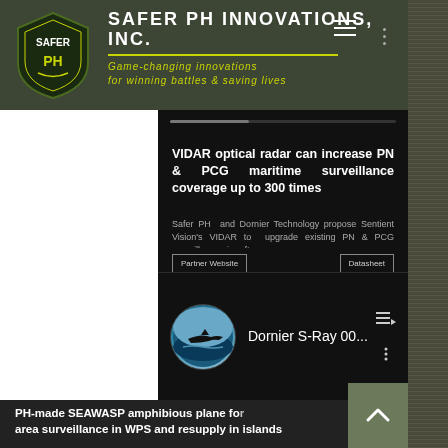[Figure (logo): Safer PH Innovations Inc. shield logo with company name, yellow divider line, and tagline 'Game-changing innovations for winning battles & saving lives' on dark olive green header background]
SAFER PH INNOVATIONS, INC.
Game-changing innovations for winning battles & saving lives
VIDAR optical radar can increase PN & PCG maritime surveillance coverage up to 300 times
Safer PH and Dornier Technology propose Sentient Vision's VIDAR to upgrade existing PN & PCG surveillance aircrafts
Partner Website
Datasheet
[Figure (screenshot): YouTube video thumbnail showing Dornier S-Ray 00... with circular thumbnail of a watercraft/seaplane on water]
PH-made SEAWASP amphibious plane for area surveillance in WPS and resupply in islands